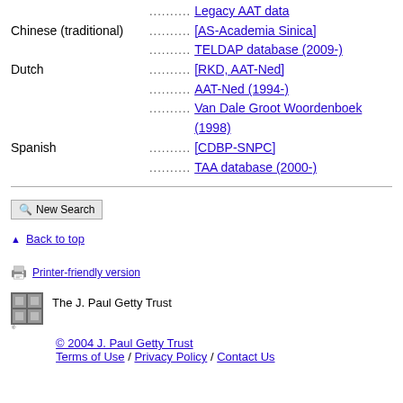.......... Legacy AAT data
Chinese (traditional) .......... [AS-Academia Sinica]
.......... TELDAP database (2009-)
Dutch .......... [RKD, AAT-Ned]
.......... AAT-Ned (1994-)
.......... Van Dale Groot Woordenboek (1998)
Spanish .......... [CDBP-SNPC]
.......... TAA database (2000-)
New Search
Back to top
Printer-friendly version
The J. Paul Getty Trust
© 2004 J. Paul Getty Trust
Terms of Use / Privacy Policy / Contact Us